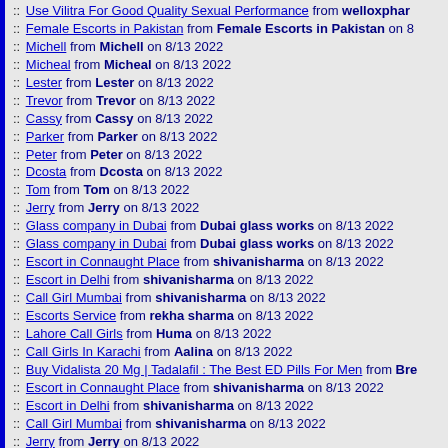:: Use Vilitra For Good Quality Sexual Performance from welloxphar...
:: Female Escorts in Pakistan from Female Escorts in Pakistan on 8...
:: Michell from Michell on 8/13 2022
:: Micheal from Micheal on 8/13 2022
:: Lester from Lester on 8/13 2022
:: Trevor from Trevor on 8/13 2022
:: Cassy from Cassy on 8/13 2022
:: Parker from Parker on 8/13 2022
:: Peter from Peter on 8/13 2022
:: Dcosta from Dcosta on 8/13 2022
:: Tom from Tom on 8/13 2022
:: Jerry from Jerry on 8/13 2022
:: Glass company in Dubai from Dubai glass works on 8/13 2022
:: Glass company in Dubai from Dubai glass works on 8/13 2022
:: Escort in Connaught Place from shivanisharma on 8/13 2022
:: Escort in Delhi from shivanisharma on 8/13 2022
:: Call Girl Mumbai from shivanisharma on 8/13 2022
:: Escorts Service from rekha sharma on 8/13 2022
:: Lahore Call Girls from Huma on 8/13 2022
:: Call Girls In Karachi from Aalina on 8/13 2022
:: Buy Vidalista 20 Mg | Tadalafil : The Best ED Pills For Men from Bre...
:: Escort in Connaught Place from shivanisharma on 8/13 2022
:: Escort in Delhi from shivanisharma on 8/13 2022
:: Call Girl Mumbai from shivanisharma on 8/13 2022
:: Jerry from Jerry on 8/13 2022
:: RTP Slot Gacor Hari Ini from rtp slot gacor on 8/13 2022
:: jaadfafdasdaweyt from hsfdsdgf on 8/13 2022
:: Female Escorts in Pakistan from Female Escorts in Pakistan on 8...
:: ttttttttt112145678 from ttttttttt112145678 on 8/13 2022
:: ttttttttt11214567 from ttttttttt11214567 on 8/13 2022